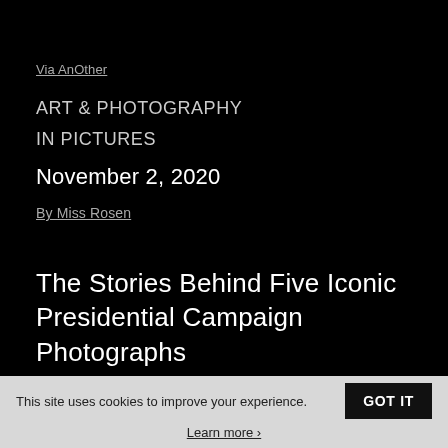Via AnOther
ART & PHOTOGRAPHY
IN PICTURES
November 2, 2020
By Miss Rosen
The Stories Behind Five Iconic Presidential Campaign Photographs
This site uses cookies to improve your experience. GOT IT Learn more ›